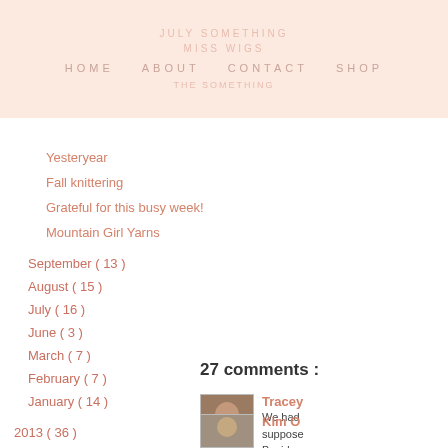HOME  ABOUT  CONTACT  SHOP
Yesteryear
Fall knittering
Grateful for this busy week!
Mountain Girl Yarns
September ( 13 )
August ( 15 )
July ( 16 )
June ( 3 )
March ( 7 )
February ( 7 )
January ( 14 )
2013 ( 36 )
SEARCH THIS BLOG
27 comments :
Tracey
We had supposed Besides guys on I am wo
Reply
Kim O